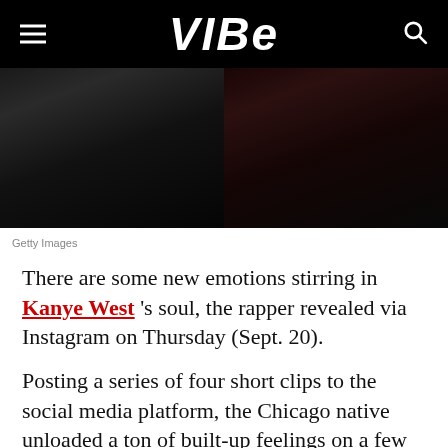VIBE
[Figure (photo): Two men photographed side by side, left figure in black clothing with jewelry, right figure in dark jacket with burgundy/maroon scarf]
Getty Images
There are some new emotions stirring in Kanye West 's soul, the rapper revealed via Instagram on Thursday (Sept. 20).
Posting a series of four short clips to the social media platform, the Chicago native unloaded a ton of built-up feelings on a few industry names including Nick Cannon, Drake, and Tyson